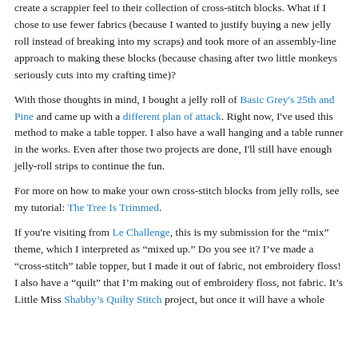create a scrappier feel to their collection of cross-stitch blocks. What if I chose to use fewer fabrics (because I wanted to justify buying a new jelly roll instead of breaking into my scraps) and took more of an assembly-line approach to making these blocks (because chasing after two little monkeys seriously cuts into my crafting time)?
With those thoughts in mind, I bought a jelly roll of Basic Grey's 25th and Pine and came up with a different plan of attack. Right now, I've used this method to make a table topper. I also have a wall hanging and a table runner in the works. Even after those two projects are done, I'll still have enough jelly-roll strips to continue the fun.
For more on how to make your own cross-stitch blocks from jelly rolls, see my tutorial: The Tree Is Trimmed.
If you're visiting from Le Challenge, this is my submission for the "mix" theme, which I interpreted as "mixed up." Do you see it? I've made a "cross-stitch" table topper, but I made it out of fabric, not embroidery floss! I also have a "quilt" that I'm making out of embroidery floss, not fabric. It's Little Miss Shabby's Quilty Stitch project, but once it will have a whole...